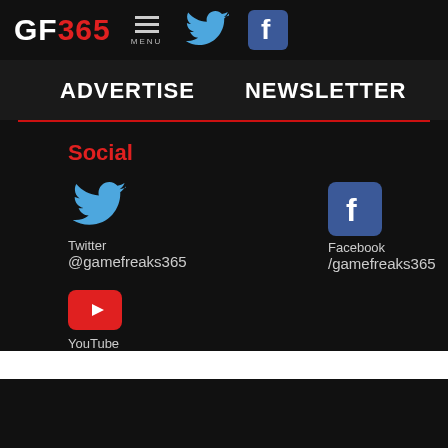GF365 MENU [Twitter] [Facebook] navigation bar
ADVERTISE   NEWSLETTER
Social
Twitter
@gamefreaks365
Facebook
/gamefreaks365
YouTube